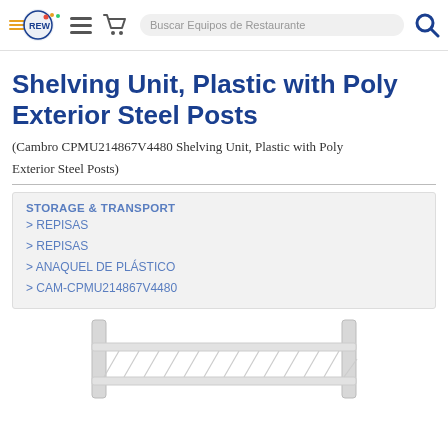REW logo | hamburger menu | cart | Buscar Equipos de Restaurante | search icon
Shelving Unit, Plastic with Poly Exterior Steel Posts
(Cambro CPMU214867V4480 Shelving Unit, Plastic with Poly Exterior Steel Posts)
STORAGE & TRANSPORT
> REPISAS
> REPISAS
> ANAQUEL DE PLÁSTICO
> CAM-CPMU214867V4480
[Figure (photo): Partial image of a white plastic shelving unit with poly exterior steel posts, shown from an angle at the bottom of the page.]